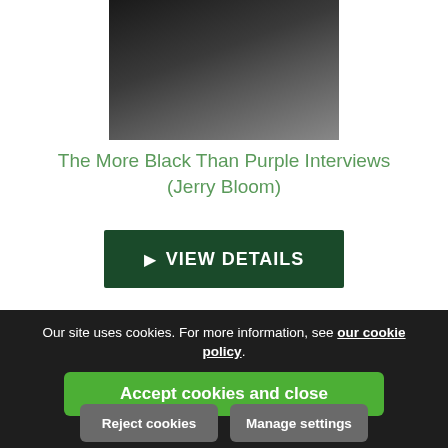[Figure (photo): Partial photo of a person playing guitar, cropped at top, dark background]
The More Black Than Purple Interviews (Jerry Bloom)
▶ VIEW DETAILS
[Figure (photo): Book cover with dark background and gold text reading BEYOND THE NICHE or similar]
Our site uses cookies. For more information, see our cookie policy.
Accept cookies and close
Reject cookies
Manage settings